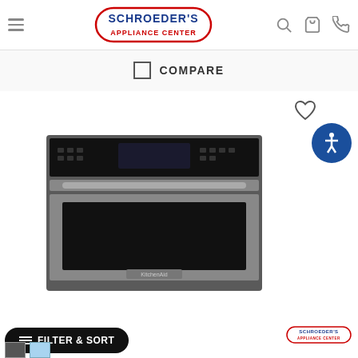Schroeder's Appliance Center - navigation header with hamburger menu, logo, search, cart, and phone icons
COMPARE
[Figure (photo): KitchenAid built-in microwave oven drawer in stainless steel finish, shown from front view with black control panel on top and stainless handle]
FILTER & SORT
[Figure (logo): Schroeder's Appliance Center logo at bottom right]